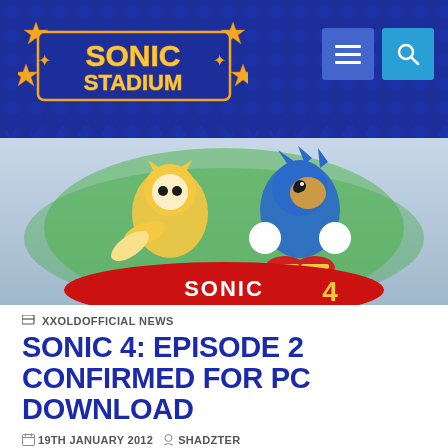Sonic Stadium
[Figure (screenshot): Sonic 4 Episode 2 game artwork banner showing Tails and Sonic characters with Sonic 4 logo on red banner]
XXOLDOFFICIAL NEWS
SONIC 4: EPISODE 2 CONFIRMED FOR PC DOWNLOAD
19TH JANUARY 2012  SHADZTER  14 COMMENTS
Share 1  Facebook  Tweet